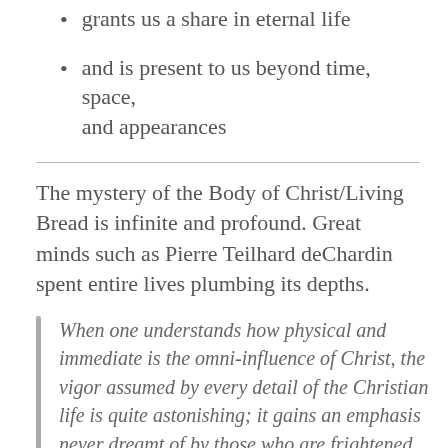grants us a share in eternal life
and is present to us beyond time, space, and appearances
The mystery of the Body of Christ/Living Bread is infinite and profound. Great minds such as Pierre Teilhard deChardin spent entire lives plumbing its depths.
When one understands how physical and immediate is the omni-influence of Christ, the vigor assumed by every detail of the Christian life is quite astonishing; it gains an emphasis never dreamt of by those who are frightened of the realistic view of the mystery of the